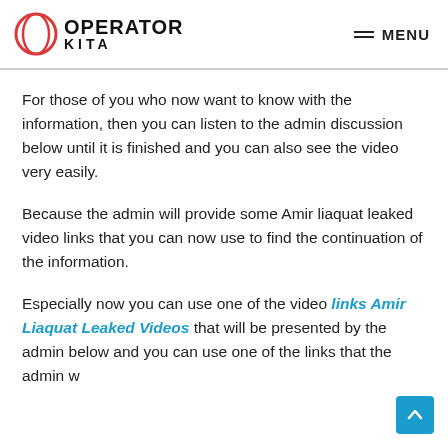OPERATOR KITA | MENU
For those of you who now want to know with the information, then you can listen to the admin discussion below until it is finished and you can also see the video very easily.
Because the admin will provide some Amir liaquat leaked video links that you can now use to find the continuation of the information.
Especially now you can use one of the video links Amir Liaquat Leaked Videos that will be presented by the admin below and you can use one of the links that the admin w...